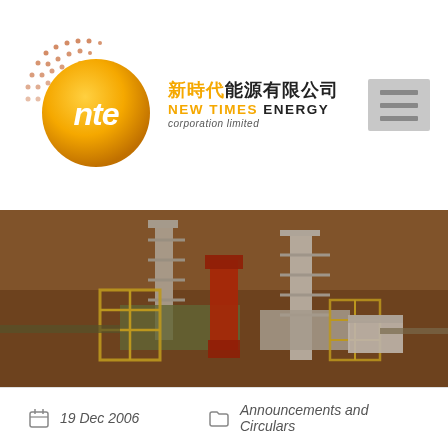[Figure (logo): New Times Energy Corporation Limited logo with NTE emblem (orange/gold gradient circle with halftone dots, white 'nte' text) and Chinese text '新時代能源有限公司' with English 'NEW TIMES ENERGY corporation limited']
[Figure (photo): Aerial photograph of an industrial mining or oil/gas drilling facility with yellow scaffolding, white tower structures, equipment, and red machinery set in an arid reddish landscape]
19 Dec 2006
Announcements and Circulars